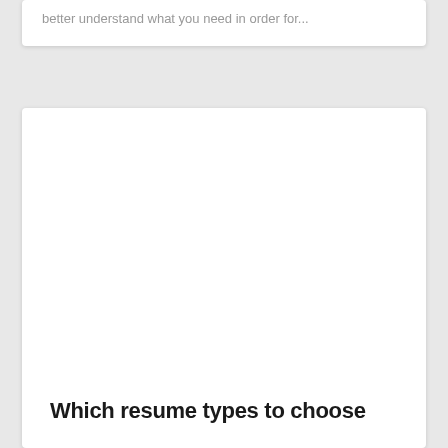better understand what you need in order for...
Which resume types to choose